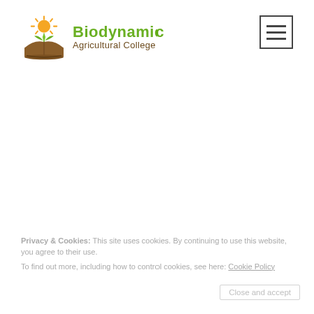[Figure (logo): Biodynamic Agricultural College logo with stylized open book, wheat/leaves, and sun rays in orange, brown and green]
Biodynamic Agricultural College
[Figure (other): Hamburger menu icon button (three horizontal bars) in a square border]
Privacy & Cookies: This site uses cookies. By continuing to use this website, you agree to their use.
To find out more, including how to control cookies, see here: Cookie Policy
Close and accept